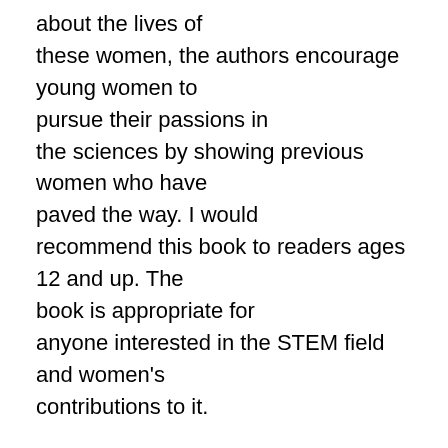about the lives of these women, the authors encourage young women to pursue their passions in the sciences by showing previous women who have paved the way. I would recommend this book to readers ages 12 and up. The book is appropriate for anyone interested in the STEM field and women's contributions to it.
Reviewer's Name: Rebecca D.
Genres:
Nonfiction, Biography/Memoir, Science/Mathematics